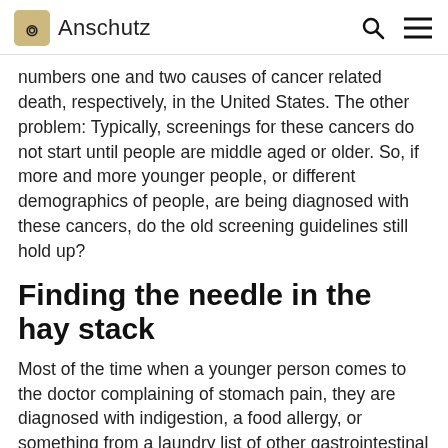Anschutz
numbers one and two causes of cancer related death, respectively, in the United States. The other problem: Typically, screenings for these cancers do not start until people are middle aged or older. So, if more and more younger people, or different demographics of people, are being diagnosed with these cancers, do the old screening guidelines still hold up?
Finding the needle in the hay stack
Most of the time when a younger person comes to the doctor complaining of stomach pain, they are diagnosed with indigestion, a food allergy, or something from a laundry list of other gastrointestinal problems. And most of the time that